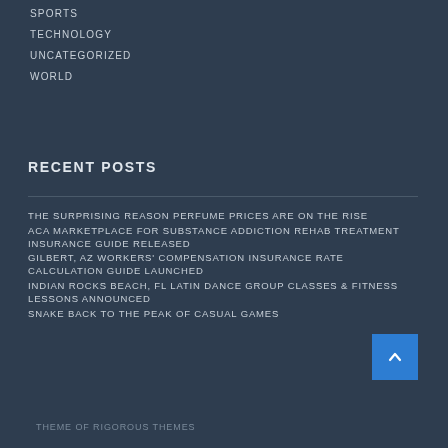SPORTS
TECHNOLOGY
UNCATEGORIZED
WORLD
RECENT POSTS
THE SURPRISING REASON PERFUME PRICES ARE ON THE RISE
ACA MARKETPLACE FOR SUBSTANCE ADDICTION REHAB TREATMENT INSURANCE GUIDE RELEASED
GILBERT, AZ WORKERS' COMPENSATION INSURANCE RATE CALCULATION GUIDE LAUNCHED
INDIAN ROCKS BEACH, FL LATIN DANCE GROUP CLASSES & FITNESS LESSONS ANNOUNCED
SNAKE BACK TO THE PEAK OF CASUAL GAMES
THEME OF RIGOROUS THEMES